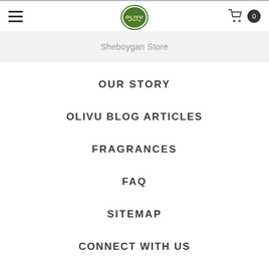OLIVU — Sheboygan Store navigation menu
[Figure (logo): OLIVU logo — circular green badge with 'OLIVU' text and olive branch imagery]
Sheboygan Store
OUR STORY
OLIVU BLOG ARTICLES
FRAGRANCES
FAQ
SITEMAP
CONNECT WITH US